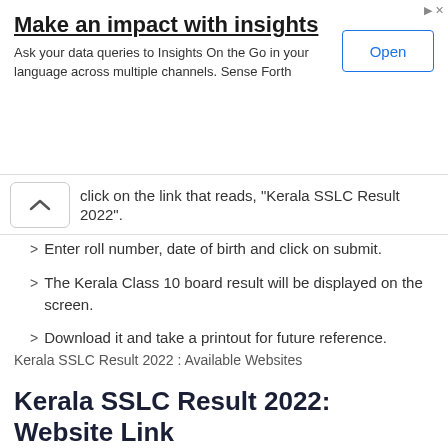[Figure (screenshot): Advertisement banner: 'Make an impact with insights' with Open button]
click on the link that reads, "Kerala SSLC Result 2022".
Enter roll number, date of birth and click on submit.
The Kerala Class 10 board result will be displayed on the screen.
Download it and take a printout for future reference.
Kerala SSLC Result 2022 : Available Websites
Kerala SSLC Result 2022: Website Link
| Websites |
| --- |
| http://keralapareekshabhavan.in/ |